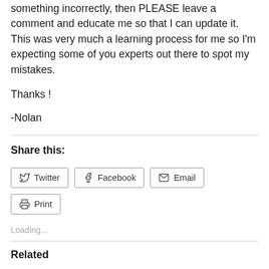something incorrectly, then PLEASE leave a comment and educate me so that I can update it. This was very much a learning process for me so I'm expecting some of you experts out there to spot my mistakes.
Thanks !
-Nolan
Share this:
Twitter Facebook Email Print
Loading...
Related